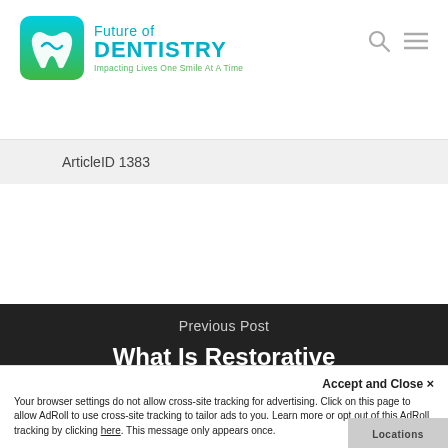[Figure (logo): Future of Dentistry logo with teal tooth icon and green tagline 'Impacting Lives One Smile At A Time']
ArticleID 1383
Previous Post
What Is Restorative Dentistry?
Accept and Close ×
Your browser settings do not allow cross-site tracking for advertising. Click on this page to allow AdRoll to use cross-site tracking to tailor ads to you. Learn more or opt out of this AdRoll tracking by clicking here. This message only appears once.
Locations